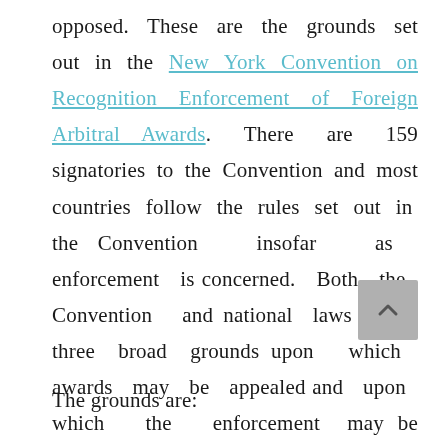opposed. These are the grounds set out in the New York Convention on Recognition Enforcement of Foreign Arbitral Awards. There are 159 signatories to the Convention and most countries follow the rules set out in the Convention insofar as enforcement is concerned. Both the Convention and national laws have three broad grounds upon which awards may be appealed and upon which the enforcement may be opposed.
The grounds are: